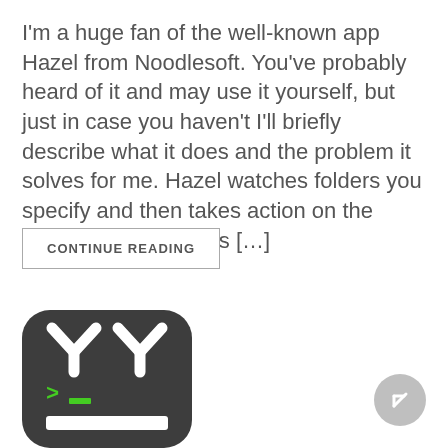I'm a huge fan of the well-known app Hazel from Noodlesoft. You've probably heard of it and may use it yourself, but just in case you haven't I'll briefly describe what it does and the problem it solves for me. Hazel watches folders you specify and then takes action on the items in those folders […]
CONTINUE READING
[Figure (illustration): Dark rounded-rectangle app icon showing a terminal/command-line face: two Y-shaped white antenna-like shapes at top (like eyes), a green '>' prompt and green underscore in the middle, and a white rectangular bar at the bottom.]
[Figure (illustration): Circular grey back/navigation button with a diagonal arrow pointing to upper-left.]